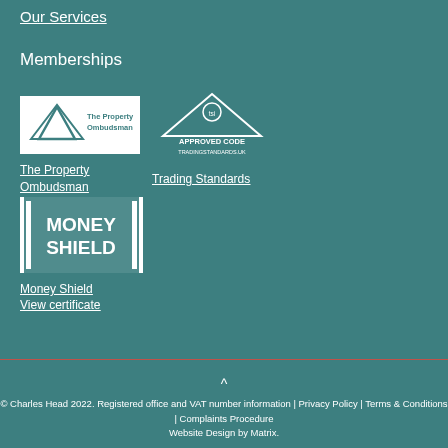Our Services
Memberships
[Figure (logo): The Property Ombudsman logo — white background with mountain/triangle graphic and text 'The Property Ombudsman']
[Figure (logo): TSI Approved Code Trading Standards logo — triangle/house shape outline with 'tsi' circle at top and text 'APPROVED CODE TRADINGSTANDARDS.UK']
The Property Ombudsman
Trading Standards
[Figure (logo): Money Shield logo — bold white text 'MONEY SHIELD' with vertical bars on left and right sides]
Money Shield
View certificate
© Charles Head 2022. Registered office and VAT number information | Privacy Policy | Terms & Conditions | Complaints Procedure Website Design by Matrix.